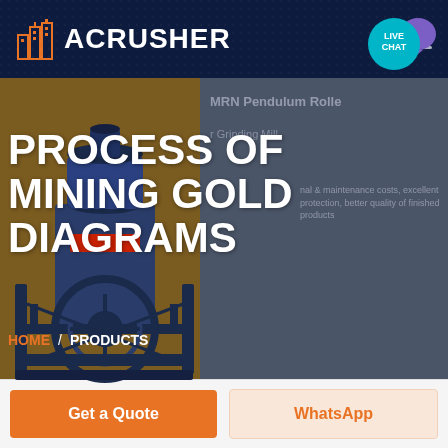ACRUSHER
PROCESS OF MINING GOLD DIAGRAMS
HOME / PRODUCTS
[Figure (screenshot): ACRUSHER website header with logo showing orange building icon and white ACRUSHER text on dark navy background with hamburger menu and live chat bubble. Hero section with mining machine (pendulum roller mill) on brown/olive background on left, dark slate background on right showing MRN Pendulum Roller text partially visible, large bold white title 'PROCESS OF MINING GOLD DIAGRAMS', orange HOME breadcrumb with white / PRODUCTS, and below a white/light grey empty section.]
Get a Quote
WhatsApp